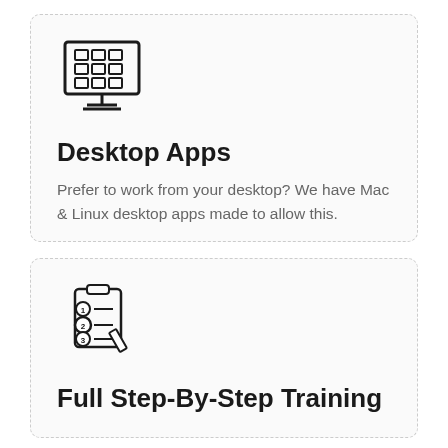[Figure (illustration): Icon of a desktop monitor displaying a grid of application tiles]
Desktop Apps
Prefer to work from your desktop? We have Mac & Linux desktop apps made to allow this.
[Figure (illustration): Icon of a clipboard with numbered list items (1, 2, 3) and a pencil]
Full Step-By-Step Training